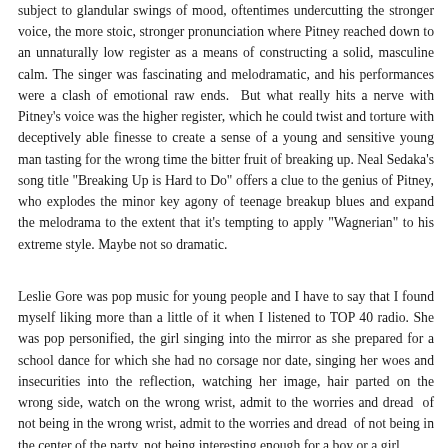subject to glandular swings of mood, oftentimes undercutting the stronger voice, the more stoic, stronger pronunciation where Pitney reached down to an unnaturally low register as a means of constructing a solid, masculine calm. The singer was fascinating and melodramatic, and his performances were a clash of emotional raw ends. But what really hits a nerve with Pitney's voice was the higher register, which he could twist and torture with deceptively able finesse to create a sense of a young and sensitive young man tasting for the wrong time the bitter fruit of breaking up. Neal Sedaka's song title "Breaking Up is Hard to Do" offers a clue to the genius of Pitney, who explodes the minor key agony of teenage breakup blues and expand the melodrama to the extent that it's tempting to apply "Wagnerian" to his extreme style. Maybe not so dramatic.
Leslie Gore was pop music for young people and I have to say that I found myself liking more than a little of it when I listened to TOP 40 radio. She was pop personified, the girl singing into the mirror as she prepared for a school dance for which she had no corsage nor date, singing her woes and insecurities into the reflection, watching her image, hair parted on the wrong side, watch on the wrong wrist, admit to the worries and dread of not being in the center of the party, not being interesting enough for a boy or a girl